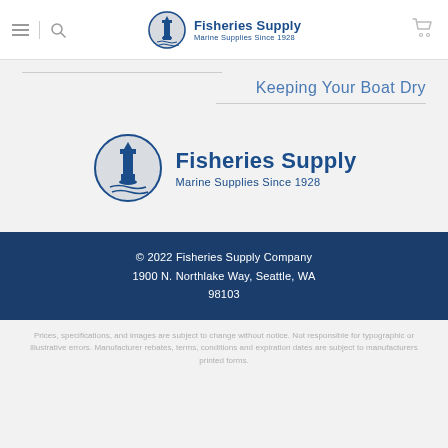Fisheries Supply — Marine Supplies Since 1928
Keeping Your Boat Dry
[Figure (logo): Fisheries Supply logo with lighthouse icon and text 'Fisheries Supply Marine Supplies Since 1928']
© 2022 Fisheries Supply Company 1900 N. Northlake Way, Seattle, WA 98103
Prices, specifications, and images are subject to change without notice. Not responsible for typographic or illustrative errors. Manufacturer rebates, terms, conditions and expiration dates are subject to manufacturers printed forms.